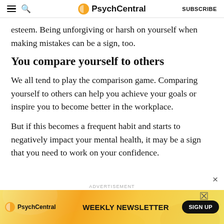PsychCentral | SUBSCRIBE
esteem. Being unforgiving or harsh on yourself when making mistakes can be a sign, too.
You compare yourself to others
We all tend to play the comparison game. Comparing yourself to others can help you achieve your goals or inspire you to become better in the workplace.
But if this becomes a frequent habit and starts to negatively impact your mental health, it may be a sign that you need to work on your confidence.
ADVERTISEMENT
[Figure (infographic): PsychCentral Weekly Newsletter advertisement banner with orange/yellow gradient background, PsychCentral logo, 'WEEKLY NEWSLETTER' text, and 'SIGN UP' button]